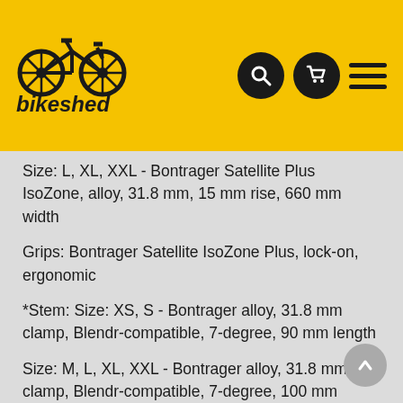bikeshed logo and navigation
Size: L, XL, XXL - Bontrager Satellite Plus IsoZone, alloy, 31.8 mm, 15 mm rise, 660 mm width
Grips: Bontrager Satellite IsoZone Plus, lock-on, ergonomic
*Stem: Size: XS, S - Bontrager alloy, 31.8 mm clamp, Blendr-compatible, 7-degree, 90 mm length
Size: M, L, XL, XXL - Bontrager alloy, 31.8 mm clamp, Blendr-compatible, 7-degree, 100 mm length
Head set: 1-1/8" threadless, sealed cartridge bearings